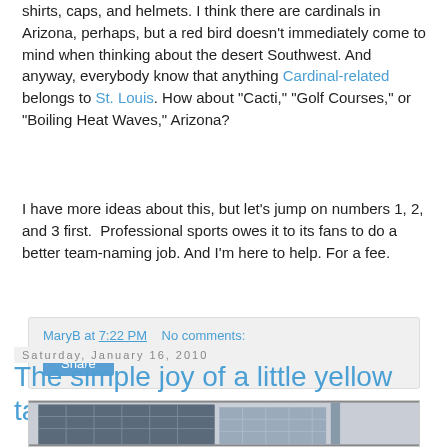shirts, caps, and helmets. I think there are cardinals in Arizona, perhaps, but a red bird doesn't immediately come to mind when thinking about the desert Southwest. And anyway, everybody know that anything Cardinal-related belongs to St. Louis. How about "Cacti," "Golf Courses," or "Boiling Heat Waves," Arizona?
I have more ideas about this, but let's jump on numbers 1, 2, and 3 first.  Professional sports owes it to its fans to do a better team-naming job. And I'm here to help. For a fee.
MaryB at 7:22 PM    No comments:
Share
Saturday, January 16, 2010
The simple joy of a little yellow taxi
[Figure (photo): Street-level photo of tall glass office buildings in an urban setting]